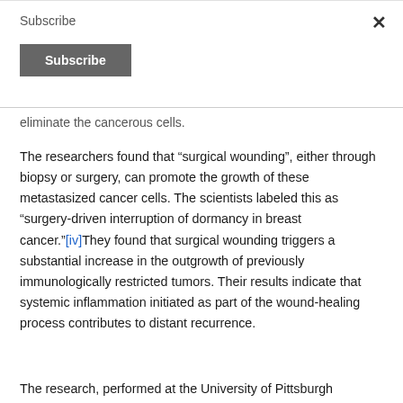Subscribe
eliminate the cancerous cells.
The researchers found that “surgical wounding”, either through biopsy or surgery, can promote the growth of these metastasized cancer cells. The scientists labeled this as “surgery-driven interruption of dormancy in breast cancer.”[iv]They found that surgical wounding triggers a substantial increase in the outgrowth of previously immunologically restricted tumors. Their results indicate that systemic inflammation initiated as part of the wound-healing process contributes to distant recurrence.
The research, performed at the University of Pittsburgh